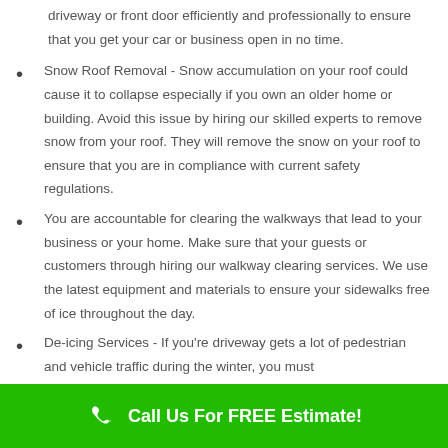driveway or front door efficiently and professionally to ensure that you get your car or business open in no time.
Snow Roof Removal - Snow accumulation on your roof could cause it to collapse especially if you own an older home or building. Avoid this issue by hiring our skilled experts to remove snow from your roof. They will remove the snow on your roof to ensure that you are in compliance with current safety regulations.
You are accountable for clearing the walkways that lead to your business or your home. Make sure that your guests or customers through hiring our walkway clearing services. We use the latest equipment and materials to ensure your sidewalks free of ice throughout the day.
De-icing Services - If you're driveway gets a lot of pedestrian and vehicle traffic during the winter, you must
Call Us For FREE Estimate!